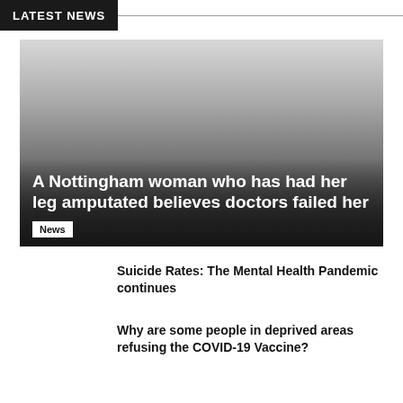LATEST NEWS
[Figure (photo): Hero image with gradient overlay showing a news article about a Nottingham woman who had her leg amputated]
A Nottingham woman who has had her leg amputated believes doctors failed her
News
Suicide Rates: The Mental Health Pandemic continues
Why are some people in deprived areas refusing the COVID-19 Vaccine?